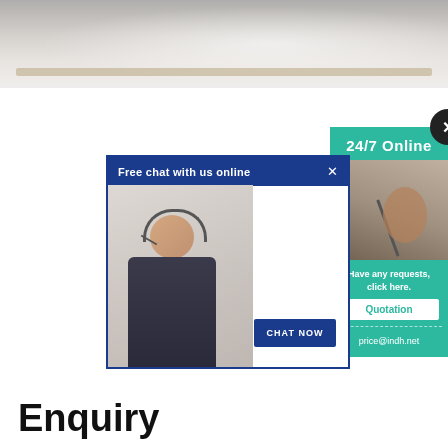[Figure (photo): Blurred office background photo showing desk equipment at the top of the page]
[Figure (screenshot): Live chat popup widget with 'Free chat with us online' header in dark blue, a smiling customer service representative wearing headset, and a 'CHAT NOW' button in blue]
[Figure (infographic): 24/7 Online support panel in teal/green color showing close button (X), '24/7 Online' text, photo of customer service agent, 'Have any requests, click here.', Quotation button, and price@indh.net email]
Enquiry